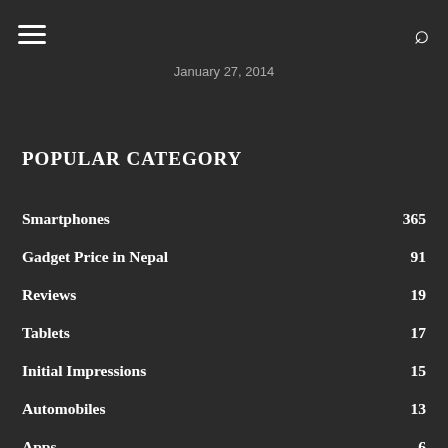January 27, 2014
POPULAR CATEGORY
Smartphones 365
Gadget Price in Nepal 91
Reviews 19
Tablets 17
Initial Impressions 15
Automobiles 13
Apps 6
Smartwatch 6
news 4